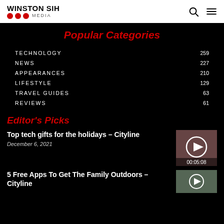WINSTON SIH MEDIA
Popular Categories
TECHNOLOGY 259
NEWS 227
APPEARANCES 210
LIFESTYLE 129
TRAVEL GUIDES 63
REVIEWS 61
Editor's Picks
Top tech gifts for the holidays – Cityline
December 6, 2021
[Figure (other): Video thumbnail with play button and duration 00:05:08]
5 Free Apps To Get The Family Outdoors – Cityline